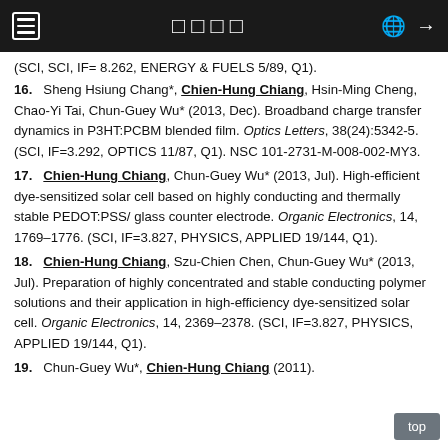≡   □□□□   🌐  →
(SCI, SCI, IF= 8.262, ENERGY & FUELS 5/89, Q1).
16. Sheng Hsiung Chang*, Chien-Hung Chiang, Hsin-Ming Cheng, Chao-Yi Tai, Chun-Guey Wu* (2013, Dec). Broadband charge transfer dynamics in P3HT:PCBM blended film. Optics Letters, 38(24):5342-5. (SCI, IF=3.292, OPTICS 11/87, Q1). NSC 101-2731-M-008-002-MY3.
17. Chien-Hung Chiang, Chun-Guey Wu* (2013, Jul). High-efficient dye-sensitized solar cell based on highly conducting and thermally stable PEDOT:PSS/ glass counter electrode. Organic Electronics, 14, 1769–1776. (SCI, IF=3.827, PHYSICS, APPLIED 19/144, Q1).
18. Chien-Hung Chiang, Szu-Chien Chen, Chun-Guey Wu* (2013, Jul). Preparation of highly concentrated and stable conducting polymer solutions and their application in high-efficiency dye-sensitized solar cell. Organic Electronics, 14, 2369–2378. (SCI, IF=3.827, PHYSICS, APPLIED 19/144, Q1).
19. Chun-Guey Wu*, Chien-Hung Chiang (2011).